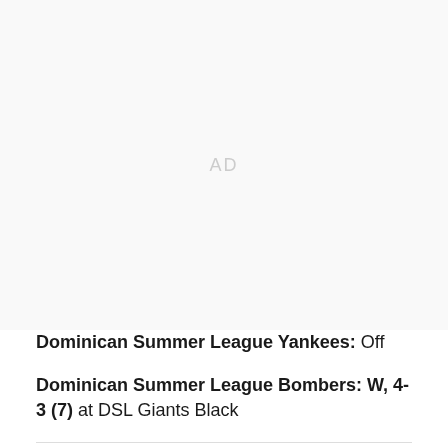[Figure (other): Advertisement placeholder area with 'AD' text centered]
Dominican Summer League Yankees: Off
Dominican Summer League Bombers: W, 4-3 (7) at DSL Giants Black
[Figure (logo): Pinstripe Alley / SB Nation circular logo]
[Figure (other): Twitter and Facebook social media icons]